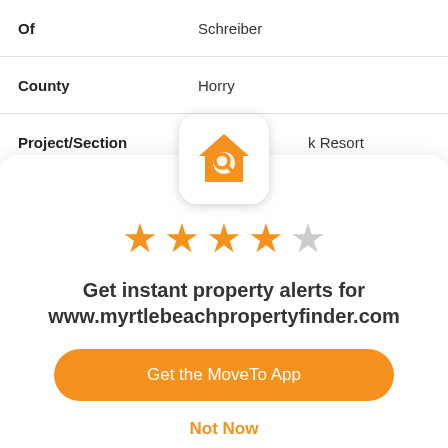| Of | Schreiber |
| County | Horry |
| Project/Section | k Resort |
[Figure (logo): Orange house with magnifying glass search icon — MoveTo app logo]
[Figure (other): 4 out of 5 stars rating in orange]
Get instant property alerts for www.myrtlebeachpropertyfinder.com
Get the MoveTo App
Not Now